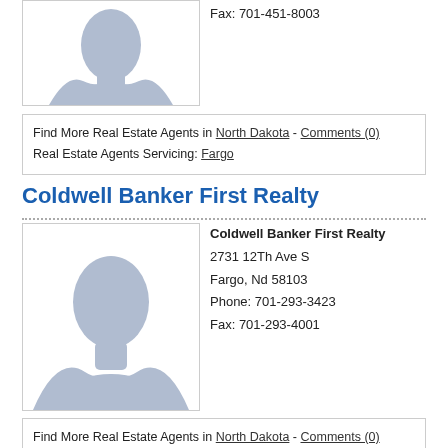Fax: 701-451-8003
[Figure (photo): Placeholder avatar silhouette for a real estate agent (top, partial)]
Find More Real Estate Agents in North Dakota - Comments (0)
Real Estate Agents Servicing: Fargo
Coldwell Banker First Realty
[Figure (photo): Placeholder avatar silhouette for Coldwell Banker First Realty agent]
Coldwell Banker First Realty
2731 12Th Ave S
Fargo, Nd 58103
Phone: 701-293-3423
Fax: 701-293-4001
Find More Real Estate Agents in North Dakota - Comments (0)
Real Estate Agents Servicing: Fargo
Realty 2000